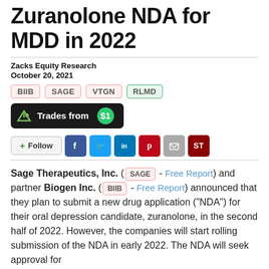Zuranolone NDA for MDD in 2022
Zacks Equity Research
October 20, 2021
Tickers: BIIB, SAGE, VTGN, RLMD
[Figure (other): Trades from $1 button (dark background with green dollar circle)]
[Figure (other): Social sharing buttons: Follow, Facebook, Twitter, LinkedIn, Pinterest, Email, ST]
Sage Therapeutics, Inc. (SAGE - Free Report) and partner Biogen Inc. (BIIB - Free Report) announced that they plan to submit a new drug application ("NDA") for their oral depression candidate, zuranolone, in the second half of 2022. However, the companies will start rolling submission of the NDA in early 2022. The NDA will seek approval for